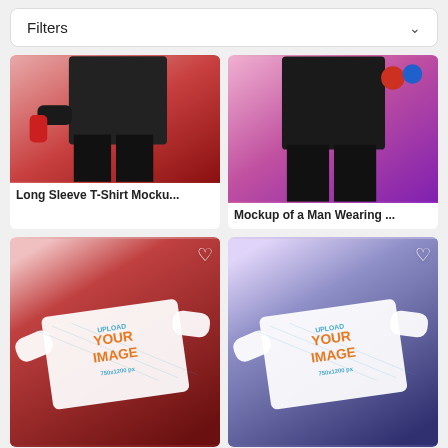Filters
[Figure (photo): Long sleeve t-shirt mockup - man in black pants against pink/red background]
Long Sleeve T-Shirt Mocku...
[Figure (photo): Mockup of a man wearing - man in black pants against purple/pink background]
Mockup of a Man Wearing ...
[Figure (photo): Flat lay long sleeve white t-shirt mockup on dark red background with UPLOAD YOUR IMAGE 750x1200 px placeholder]
[Figure (photo): Flat lay long sleeve white t-shirt mockup on dark blue/navy background with UPLOAD YOUR IMAGE 750x1200 px placeholder]